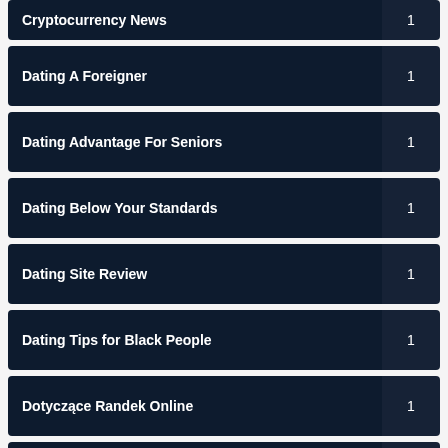Cryptocurrency News | 1
Dating A Foreigner | 1
Dating Advantage For Seniors | 1
Dating Below Your Standards | 1
Dating Site Review | 1
Dating Tips for Black People | 1
Dotyczące Randek Online | 1